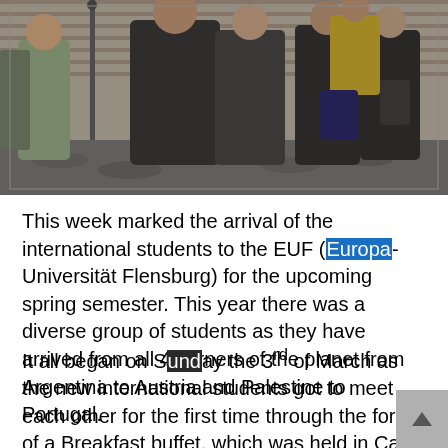[Figure (photo): Group of international students standing outdoors on cobblestone pavement, wearing winter jackets, viewed from behind and side, brick wall in background.]
This week marked the arrival of the international students to the EUF (Europa-Universität Flensburg) for the upcoming spring semester. This year there was a diverse group of students as they have arrived from all 4 corners of the planet from Argentina to Austria and Palestine to Portugal.
It all began on Sunday the 3rd of March as the new international students got to meet each other for the first time through the form of a Breakfast buffet, which was held in Café Extrablatt and organised by LEI (Local Erasmus Initiative). Everyone enjoyed the breakfast as the